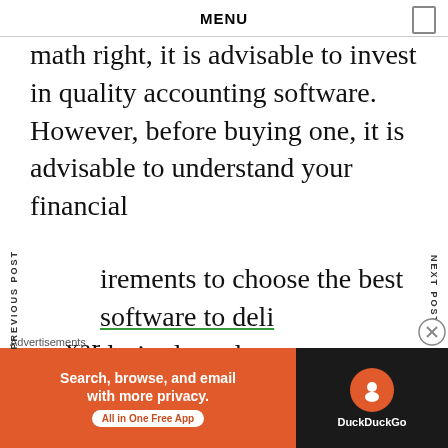MENU
math right, it is advisable to invest in quality accounting software. However, before buying one, it is advisable to understand your financial requirements to choose the best software to deliver desired results.
For example, if you face challenges when monitoring cash flow, keeping your books accurate, or filing returns, ensure that the software you buy can handle these tasks. Depending on your requirements, a software expert can help you decide whether to invest in payroll software, tax software, bookkeeping
Advertisements
[Figure (screenshot): DuckDuckGo advertisement banner with orange background. Text reads: Search, browse, and email with more privacy. All in One Free App. DuckDuckGo logo on black background on the right.]